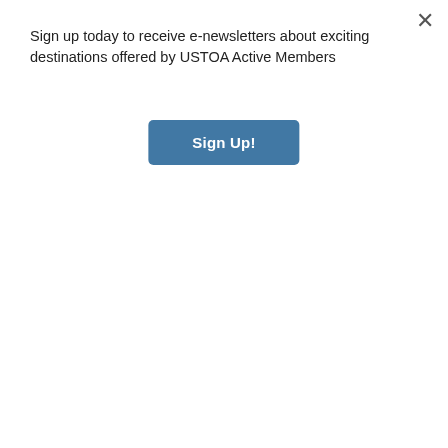Sign up today to receive e-newsletters about exciting destinations offered by USTOA Active Members
Sign Up!
[Figure (photo): People doing yoga on a waterfront boardwalk at night with a city skyline in the background, Singapore.]
Photo Courtesy of Singapore Tourism Board
Travelers are increasingly seeing sustainability as part of their travels, can you share some exciting attractions in Singapore that embrace sustainability and eco-friendliness?
That's right, more travelers are looking for a smaller carbon footprint and seeking to incorporate sustainability during their